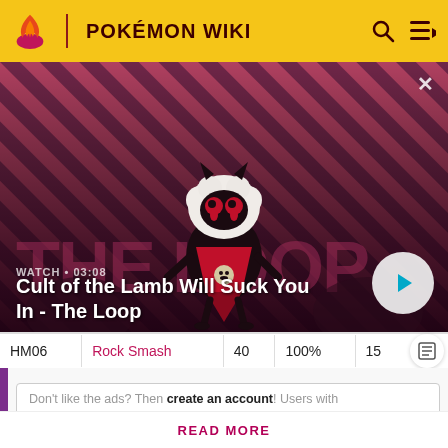POKÉMON WIKI
[Figure (screenshot): Video thumbnail showing Cult of the Lamb character on a red diagonal striped background with 'THE LOOP' text. Video meta: WATCH • 03:08. Title: Cult of the Lamb Will Suck You In - The Loop]
| HM06 | Rock Smash | 40 | 100% | 15 |
Don't like the ads? Then create an account! Users with
READ MORE